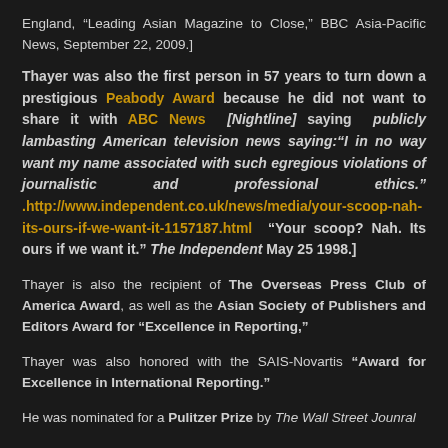England, “Leading Asian Magazine to Close,” BBC Asia-Pacific News, September 22, 2009.]
Thayer was also the first person in 57 years to turn down a prestigious Peabody Award because he did not want to share it with ABC News [Nightline] saying publicly lambasting American television news saying:“I in no way want my name associated with such egregious violations of journalistic and professional ethics.” .http://www.independent.co.uk/news/media/your-scoop-nah-its-ours-if-we-want-it-1157187.html “Your scoop? Nah. Its ours if we want it.” The Independent May 25 1998.]
Thayer is also the recipient of The Overseas Press Club of America Award, as well as the Asian Society of Publishers and Editors Award for “Excellence in Reporting,”
Thayer was also honored with the SAIS-Novartis “Award for Excellence in International Reporting.”
He was nominated for a Pulitzer Prize by The Wall Street Jounral
In 1999 Thayer established at the Hofstra Universitys Department of Journalism and Mass Media Studies in the School of